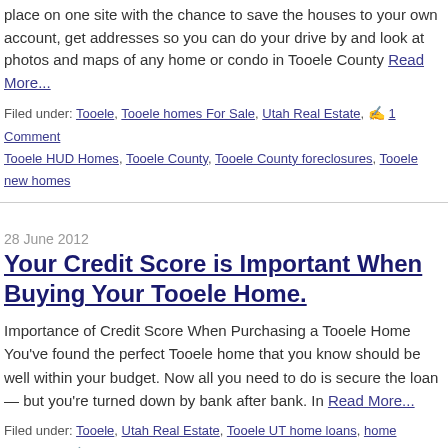place on one site with the chance to save the houses to your own account, get addresses so you can do your drive by and look at photos and maps of any home or condo in Tooele County Read More...
Filed under: Tooele, Tooele homes For Sale, Utah Real Estate, 1 Comment, Tooele HUD Homes, Tooele County, Tooele County foreclosures, Tooele new homes
28 June 2012
Your Credit Score is Important When Buying Your Tooele Home.
Importance of Credit Score When Purchasing a Tooele Home You've found the perfect Tooele home that you know should be well within your budget. Now all you need to do is secure the loan — but you're turned down by bank after bank. In Read More...
Filed under: Tooele, Utah Real Estate, Tooele UT home loans, home financing (Comments Off)